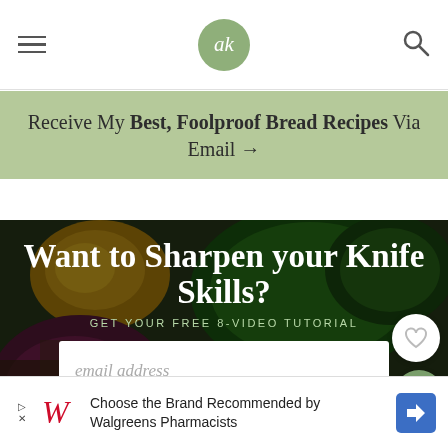ak (logo)
Receive My Best, Foolproof Bread Recipes Via Email →
[Figure (photo): Overhead view of chopped vegetables in bowls — red onion, herbs, scallions, corn, lemons on dark wood background, with overlay text 'Want to Sharpen your Knife Skills? GET YOUR FREE 8-VIDEO TUTORIAL' and email address input field]
[Figure (other): Advertisement banner: Walgreens logo with text 'Choose the Brand Recommended by Walgreens Pharmacists' and blue diamond navigation arrow]